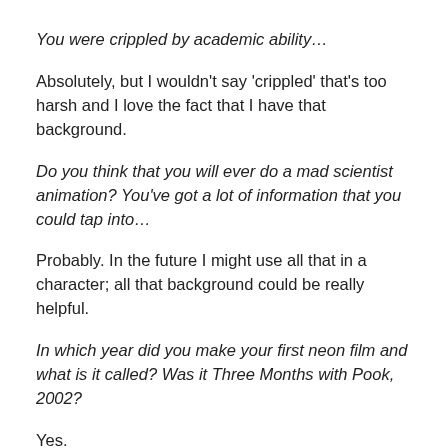You were crippled by academic ability…
Absolutely, but I wouldn't say 'crippled' that's too harsh and I love the fact that I have that background.
Do you think that you will ever do a mad scientist animation? You've got a lot of information that you could tap into…
Probably. In the future I might use all that in a character; all that background could be really helpful.
In which year did you make your first neon film and what is it called? Was it Three Months with Pook, 2002?
Yes.
You describe your production method as 'a combination of